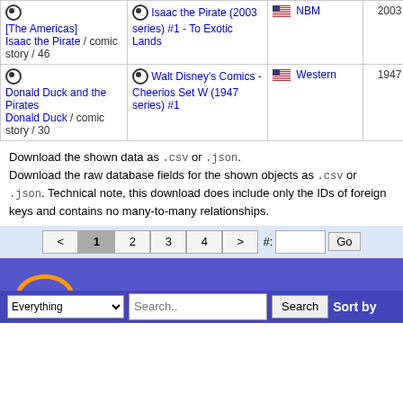| Story | Issue | Publisher | Year |  |
| --- | --- | --- | --- | --- |
| [The Americas] Isaac the Pirate / comic story / 46 | Isaac the Pirate (2003 series) #1 - To Exotic Lands | NBM | 2003 | — |
| Donald Duck and the Pirates Donald Duck / comic story / 30 | Walt Disney's Comics - Cheerios Set W (1947 series) #1 | Western | 1947 | 194 |
Download the shown data as .csv or .json. Download the raw database fields for the shown objects as .csv or .json. Technical note, this download does include only the IDs of foreign keys and contains no many-to-many relationships.
GCD footer with pagination: < 1 2 3 4 > and search bar